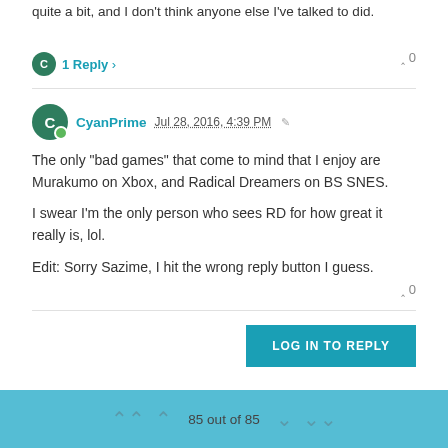quite a bit, and I don't think anyone else I've talked to did.
1 Reply
0
CyanPrime Jul 28, 2016, 4:39 PM
The only "bad games" that come to mind that I enjoy are Murakumo on Xbox, and Radical Dreamers on BS SNES.

I swear I'm the only person who sees RD for how great it really is, lol.

Edit: Sorry Sazime, I hit the wrong reply button I guess.
0
LOG IN TO REPLY
85 out of 85